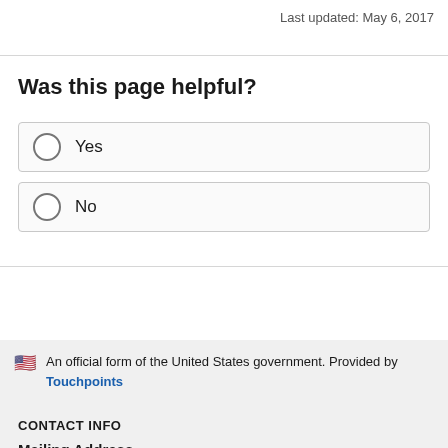Last updated: May 6, 2017
Was this page helpful?
Yes
No
An official form of the United States government. Provided by Touchpoints
CONTACT INFO
Mailing Address